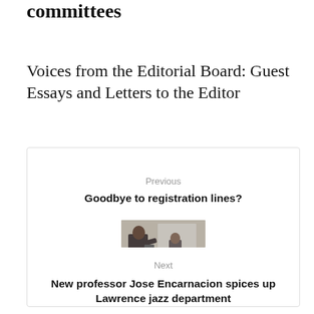committees
Voices from the Editorial Board: Guest Essays and Letters to the Editor
Previous
Goodbye to registration lines?
[Figure (photo): Small thumbnail photo of a man playing music with other musicians visible in background, indoors]
Next
New professor Jose Encarnacion spices up Lawrence jazz department